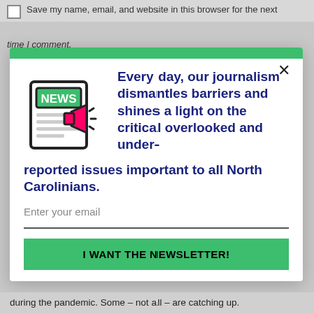Save my name, email, and website in this browser for the next time I comment.
[Figure (screenshot): Newsletter signup modal popup with green top bar, news icon, headline text about journalism, email input field, and green 'I WANT THE NEWSLETTER!' button]
Every day, our journalism dismantles barriers and shines a light on the critical overlooked and under-reported issues important to all North Carolinians.
Enter your email
I WANT THE NEWSLETTER!
during the pandemic. Some – not all – are catching up.